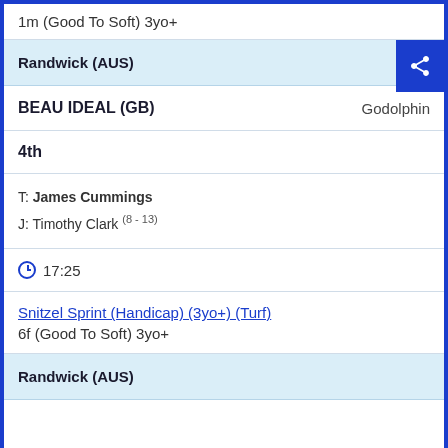1m (Good To Soft) 3yo+
Randwick (AUS)
BEAU IDEAL (GB)  Godolphin
4th
T: James Cummings
J: Timothy Clark (8 - 13)
17:25
Snitzel Sprint (Handicap) (3yo+) (Turf)
6f (Good To Soft) 3yo+
Randwick (AUS)